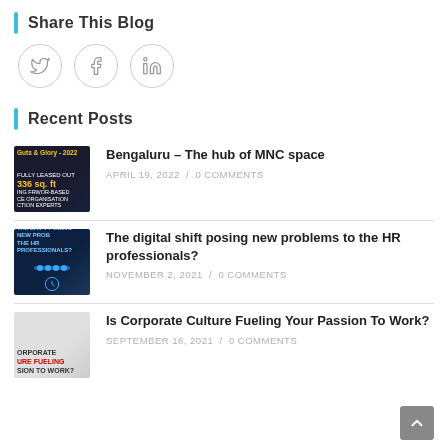Share This Blog
[Figure (illustration): Three circular social media icon buttons for Twitter, Facebook, and LinkedIn]
Recent Posts
[Figure (photo): Blog post thumbnail: Guts and Glory 2022, fully leased out, 336 sq ft]
Bengaluru – The hub of MNC space
APRIL 19, 2022 / 0 COMMENTS
[Figure (photo): Blog post thumbnail: Digital shift posing new problems to HR professionals]
The digital shift posing new problems to the HR professionals?
NOVEMBER 2, 2021 / 0 COMMENTS
[Figure (photo): Blog post thumbnail: Corporate Culture Fueling Your Passion To Work]
Is Corporate Culture Fueling Your Passion To Work?
SEPTEMBER 16, 2021 / 0 COMMENTS